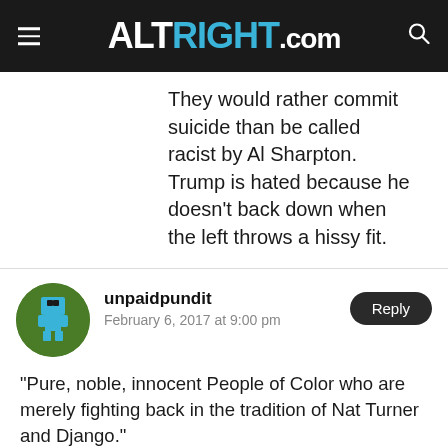ALTRIGHT.COM
They would rather commit suicide than be called racist by Al Sharpton. Trump is hated because he doesn't back down when the left throws a hissy fit.
unpaidpundit
February 6, 2017 at 9:00 pm
“Pure, noble, innocent People of Color who are merely fighting back in the tradition of Nat Turner and Django.”

Black people have been told, and honestly believe, that they have no agency in their own lives. Everything that happens in their lives